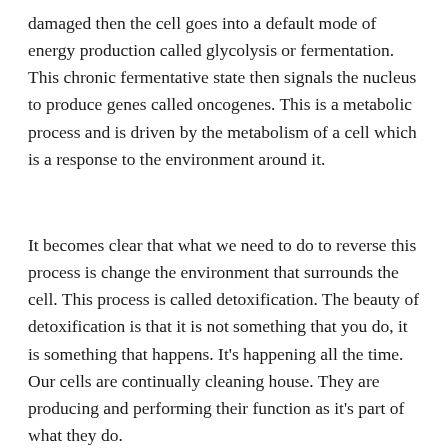damaged then the cell goes into a default mode of energy production called glycolysis or fermentation. This chronic fermentative state then signals the nucleus to produce genes called oncogenes. This is a metabolic process and is driven by the metabolism of a cell which is a response to the environment around it.
It becomes clear that what we need to do to reverse this process is change the environment that surrounds the cell. This process is called detoxification. The beauty of detoxification is that it is not something that you do, it is something that happens. It's happening all the time. Our cells are continually cleaning house. They are producing and performing their function as it's part of what they do.